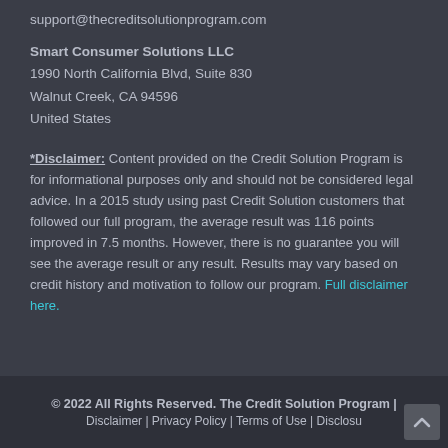support@thecreditsolutionprogram.com
Smart Consumer Solutions LLC
1990 North California Blvd, Suite 830
Walnut Creek, CA 94596
United States
*Disclaimer: Content provided on the Credit Solution Program is for informational purposes only and should not be considered legal advice. In a 2015 study using past Credit Solution customers that followed our full program, the average result was 116 points improved in 7.5 months. However, there is no guarantee you will see the average result or any result. Results may vary based on credit history and motivation to follow our program. Full disclaimer here.
© 2022 All Rights Reserved. The Credit Solution Program | Disclaimer | Privacy Policy | Terms of Use | Disclosu